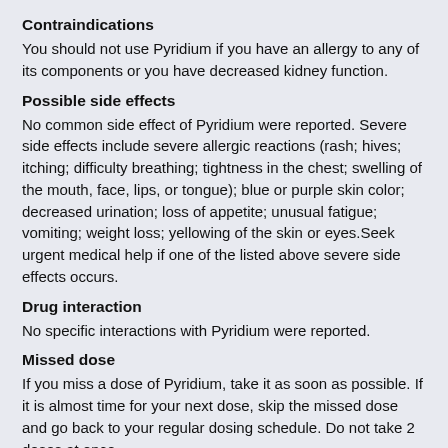Contraindications
You should not use Pyridium if you have an allergy to any of its components or you have decreased kidney function.
Possible side effects
No common side effect of Pyridium were reported. Severe side effects include severe allergic reactions (rash; hives; itching; difficulty breathing; tightness in the chest; swelling of the mouth, face, lips, or tongue); blue or purple skin color; decreased urination; loss of appetite; unusual fatigue; vomiting; weight loss; yellowing of the skin or eyes.Seek urgent medical help if one of the listed above severe side effects occurs.
Drug interaction
No specific interactions with Pyridium were reported.
Missed dose
If you miss a dose of Pyridium, take it as soon as possible. If it is almost time for your next dose, skip the missed dose and go back to your regular dosing schedule. Do not take 2 doses at once.